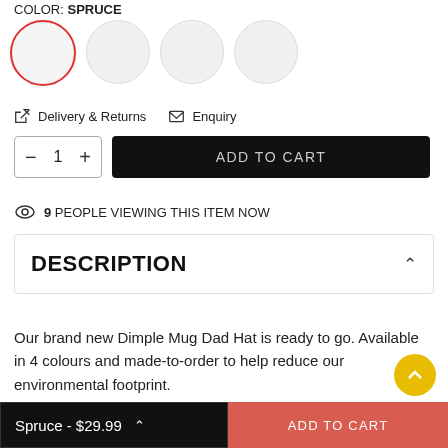COLOR: SPRUCE
[Figure (other): Four circular color swatches; first one selected with red border]
Delivery & Returns  Enquiry
1  ADD TO CART
9 PEOPLE VIEWING THIS ITEM NOW
DESCRIPTION
Our brand new Dimple Mug Dad Hat is ready to go. Available in 4 colours and made-to-order to help reduce our environmental footprint.
Spruce - $29.99  ADD TO CART